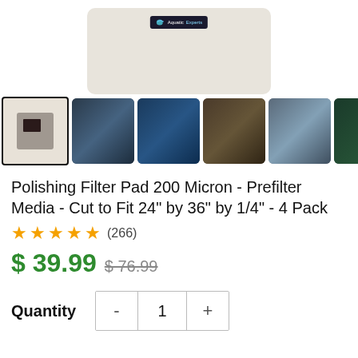[Figure (photo): Top portion of a filter pad product with Aquatic Experts branding label, beige/cream colored pad on white background]
[Figure (photo): Row of product thumbnail images: selected thumbnail showing product, followed by 5 blurred aquatic/aquarium scene thumbnails]
Polishing Filter Pad 200 Micron - Prefilter Media - Cut to Fit 24" by 36" by 1/4" - 4 Pack
★★★★★ (266)
$ 39.99  $76.99
Quantity  -  1  +